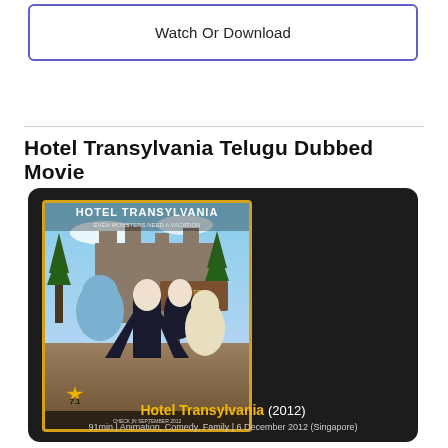Watch Or Download
Hotel Transylvania Telugu Dubbed Movie
[Figure (illustration): Movie card with dark background showing Hotel Transylvania (2012) movie poster with rating 7.1 star, title in yellow, and metadata: 91min | Animation, Comedy, Family | 6 December 2012 (Singapore)]
Hotel Transylvania (2012)
91min | Animation, Comedy, Family | 6 December 2012 (Singapore)